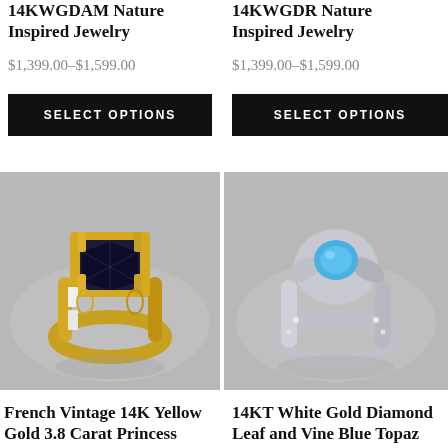14KWGDAM Nature Inspired Jewelry
$1,399.00–$1,599.00
SELECT OPTIONS
14KWGDR Nature Inspired Jewelry
$1,399.00–$1,599.00
SELECT OPTIONS
[Figure (photo): French Vintage 14K Yellow Gold ring with large black princess cut stone and diamond accents on a grey background]
[Figure (photo): 14KT White Gold Diamond Leaf and Vine ring with blue topaz center stone on a grey background]
French Vintage 14K Yellow Gold 3.8 Carat Princess Black and White
14KT White Gold Diamond Leaf and Vine Blue Topaz Wedding Ring